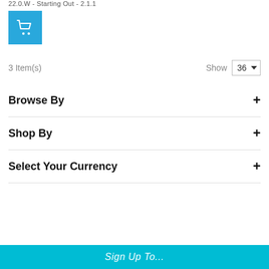22.0.W - Starting Out - 2.1.1
[Figure (illustration): Blue shopping cart icon on a sky-blue square background]
3 Item(s)
Show 36
Browse By
Shop By
Select Your Currency
Sign Up To...